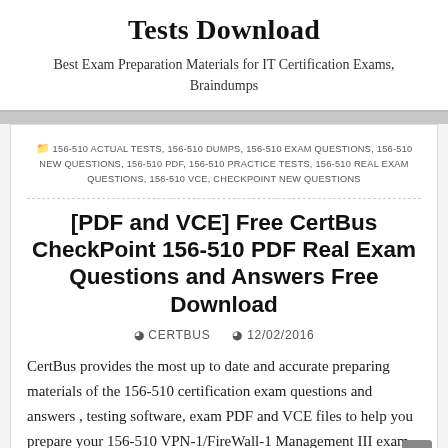Tests Download
Best Exam Preparation Materials for IT Certification Exams, Braindumps
156-510 ACTUAL TESTS, 156-510 DUMPS, 156-510 EXAM QUESTIONS, 156-510 NEW QUESTIONS, 156-510 PDF, 156-510 PRACTICE TESTS, 156-510 REAL EXAM QUESTIONS, 156-510 VCE, CHECKPOINT NEW QUESTIONS
[PDF and VCE] Free CertBus CheckPoint 156-510 PDF Real Exam Questions and Answers Free Download
CERTBUS   12/02/2016
CertBus provides the most up to date and accurate preparing materials of the 156-510 certification exam questions and answers , testing software, exam PDF and VCE files to help you prepare your 156-510 VPN-1/FireWall-1 Management III exam.